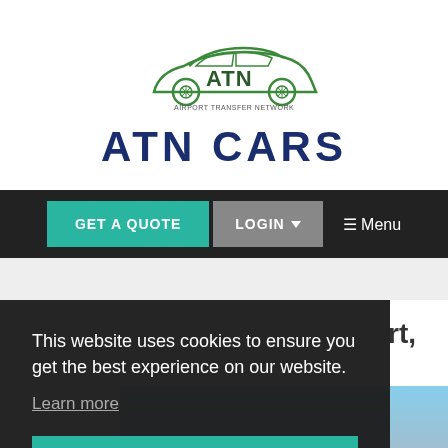[Figure (logo): ATN Cars logo with green car silhouette and text 'AIRPORT TRANSFER NETWORK' above 'ATN CARS' in dark navy bold letters]
[Figure (screenshot): Navigation bar with dark background, teal 'GET A QUOTE' button, gray 'LOGIN' dropdown button, and hamburger 'Menu' icon on the right]
This website uses cookies to ensure you get the best experience on our website.
Learn more
Got it!